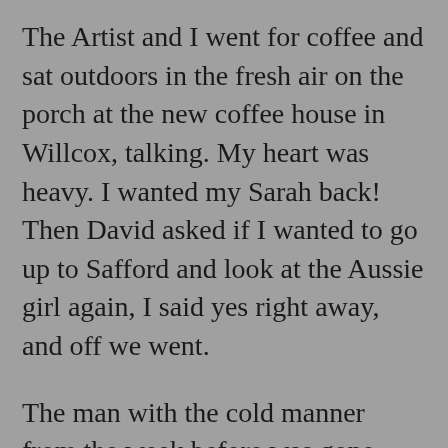The Artist and I went for coffee and sat outdoors in the fresh air on the porch at the new coffee house in Willcox, talking. My heart was heavy. I wanted my Sarah back! Then David asked if I wanted to go up to Safford and look at the Aussie girl again, I said yes right away, and off we went.
The man with the cold manner from the week before was gone, and a different guy, a very nice, calm, friendly guy went back with me to see the little Aussie girl in her cell again. He, it turned out, had developed a relationship with her, giving her treats.